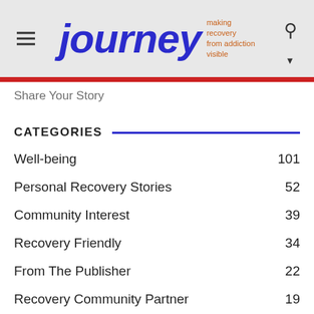journey — making recovery from addiction visible
Share Your Story
CATEGORIES
Well-being  101
Personal Recovery Stories  52
Community Interest  39
Recovery Friendly  34
From The Publisher  22
Recovery Community Partner  19
HELPFUL LINKS